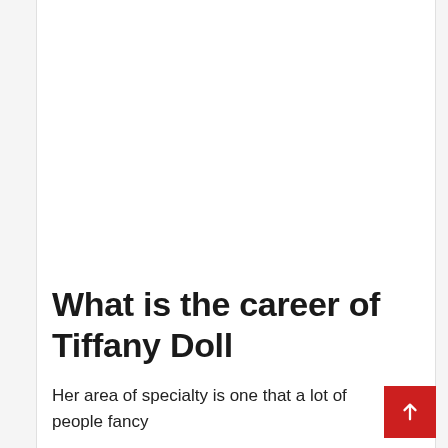What is the career of Tiffany Doll
Her area of specialty is one that a lot of people fancy